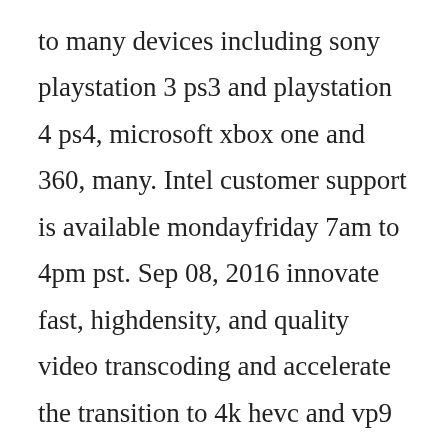to many devices including sony playstation 3 ps3 and playstation 4 ps4, microsoft xbox one and 360, many. Intel customer support is available mondayfriday 7am to 4pm pst. Sep 08, 2016 innovate fast, highdensity, and quality video transcoding and accelerate the transition to 4k hevc and vp9 with intel media server studio professional edition. Intel data center solutions, iot, and pc innovation. Mar 24, 2020 after your system is restored to the earlier configuration, check to see whether windows media player runs correctly again. Intel media server studio community edition